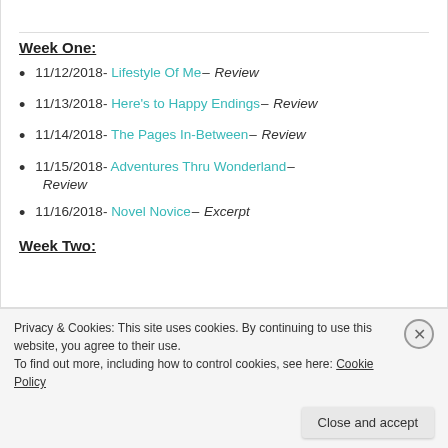Week One:
11/12/2018- Lifestyle Of Me– Review
11/13/2018- Here's to Happy Endings– Review
11/14/2018- The Pages In-Between– Review
11/15/2018- Adventures Thru Wonderland– Review
11/16/2018- Novel Novice– Excerpt
Week Two:
Privacy & Cookies: This site uses cookies. By continuing to use this website, you agree to their use. To find out more, including how to control cookies, see here: Cookie Policy
Close and accept